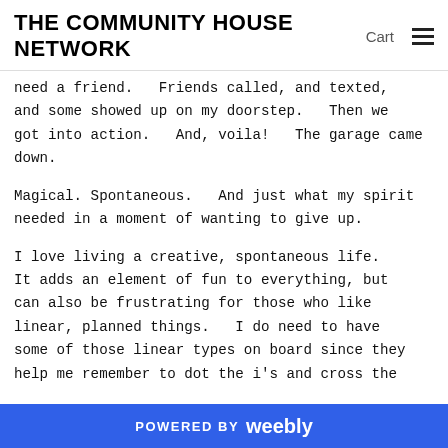THE COMMUNITY HOUSE NETWORK   Cart  ☰
need a friend.  Friends called, and texted, and some showed up on my doorstep.  Then we got into action.  And, voila!  The garage came down.
Magical. Spontaneous.  And just what my spirit needed in a moment of wanting to give up.
I love living a creative, spontaneous life.  It adds an element of fun to everything, but can also be frustrating for those who like linear, planned things.  I do need to have some of those linear types on board since they help me remember to dot the i's and cross the
POWERED BY weebly